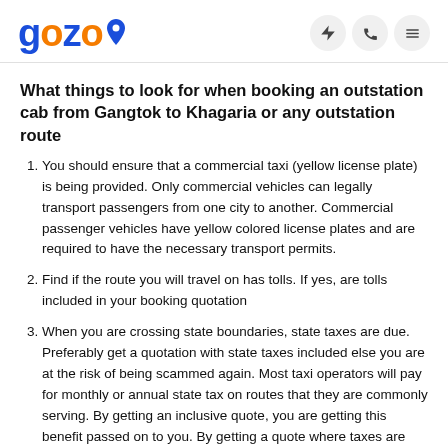gozo
What things to look for when booking an outstation cab from Gangtok to Khagaria or any outstation route
You should ensure that a commercial taxi (yellow license plate) is being provided. Only commercial vehicles can legally transport passengers from one city to another. Commercial passenger vehicles have yellow colored license plates and are required to have the necessary transport permits.
Find if the route you will travel on has tolls. If yes, are tolls included in your booking quotation
When you are crossing state boundaries, state taxes are due. Preferably get a quotation with state taxes included else you are at the risk of being scammed again. Most taxi operators will pay for monthly or annual state tax on routes that they are commonly serving. By getting an inclusive quote, you are getting this benefit passed on to you. By getting a quote where taxes are excluded you